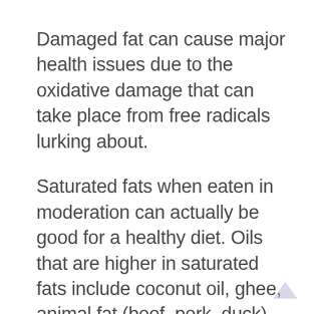Damaged fat can cause major health issues due to the oxidative damage that can take place from free radicals lurking about.
Saturated fats when eaten in moderation can actually be good for a healthy diet. Oils that are higher in saturated fats include coconut oil, ghee, animal fat (beef, pork, duck), and butter.